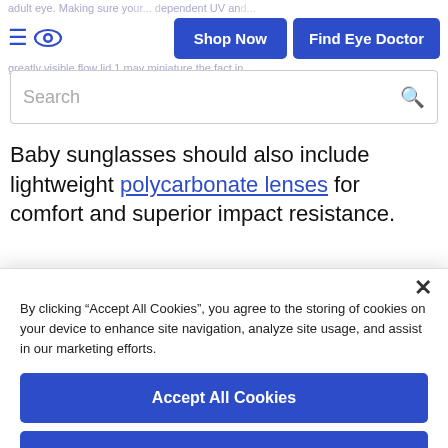adult eye. Making sure your... dependent UV and... greatly visible flow lid 1 may miniature the fact in...
Baby sunglasses should also include lightweight polycarbonate lenses for comfort and superior impact resistance.
By clicking “Accept All Cookies”, you agree to the storing of cookies on your device to enhance site navigation, analyze site usage, and assist in our marketing efforts.
Accept All Cookies
Reject All
Cookies Settings